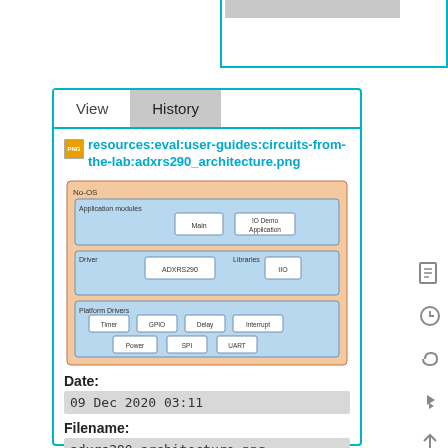[Figure (screenshot): Top-right portion of a UI panel with teal border, partially visible, with a gray rectangle inside.]
[Figure (screenshot): Main panel with View/History tabs. Contains a PNG file link, an architecture diagram showing No-OS software stack with Application modules (Main, IO Demo Application), Driver (ADXRS290), Libraries (IIO), Platform Drivers (Timer, GPIO, Delay, Interrupt, Power, SPI, UART). Below the diagram: Date: 09 Dec 2020 03:11, Filename: adxrs290_architecture.png, Format: PNG (partially visible).]
resources:eval:user-guides:circuits-from-the-lab:adxrs290_architecture.png
Date:
09 Dec 2020 03:11
Filename:
adxrs290_architecture.png
Format: